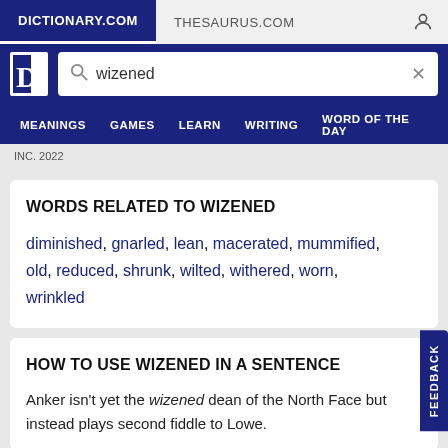DICTIONARY.COM | THESAURUS.COM
[Figure (screenshot): Dictionary.com logo with white D letter on blue background]
wizened
WORDS RELATED TO WIZENED
diminished, gnarled, lean, macerated, mummified, old, reduced, shrunk, wilted, withered, worn, wrinkled
HOW TO USE WIZENED IN A SENTENCE
Anker isn't yet the wizened dean of the North Face but instead plays second fiddle to Lowe.
INC. 2022